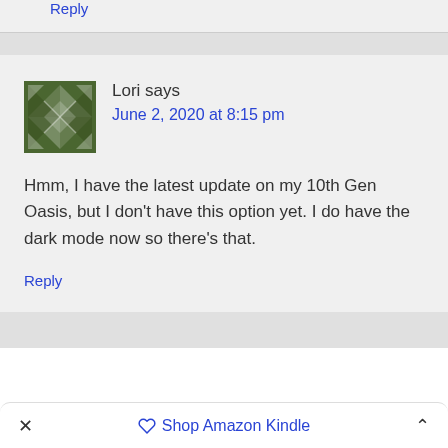Reply
Lori says
June 2, 2020 at 8:15 pm
Hmm, I have the latest update on my 10th Gen Oasis, but I don't have this option yet. I do have the dark mode now so there's that.
Reply
Shop Amazon Kindle